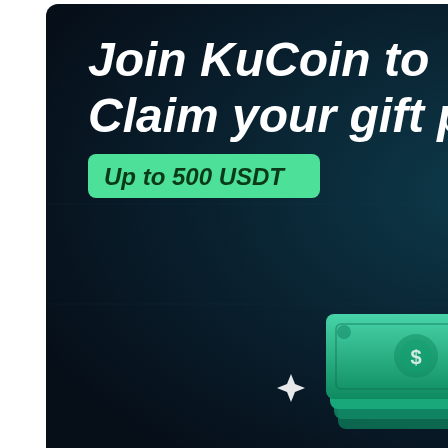[Figure (illustration): KuCoin promotional banner with dark navy/teal gradient background. Bold white italic text reads 'Join KuCoin to Claim your gift package'. A green rounded rectangle badge reads 'Up to 500 USDT'. Illustrated elements include a stack of teal/green dollar bills with a dollar sign, a gold Tether (USDT) coin with the letter T, a green dollar bill with a $ symbol, and sparkle/star decorations in white.]